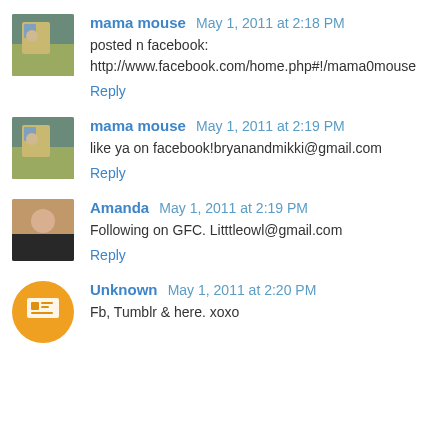mama mouse  May 1, 2011 at 2:18 PM
posted n facebook:
http://www.facebook.com/home.php#!/mama0mouse
Reply
mama mouse  May 1, 2011 at 2:19 PM
like ya on facebook!bryanandmikki@gmail.com
Reply
Amanda  May 1, 2011 at 2:19 PM
Following on GFC. Litttleowl@gmail.com
Reply
Unknown  May 1, 2011 at 2:20 PM
Fb, Tumblr & here. xoxo